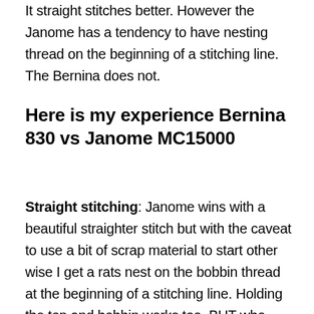It straight stitches better. However the Janome has a tendency to have nesting thread on the beginning of a stitching line. The Bernina does not.
Here is my experience Bernina 830 vs Janome MC15000
Straight stitching: Janome wins with a beautiful straighter stitch but with the caveat to use a bit of scrap material to start other wise I get a rats nest on the bobbin thread at the beginning of a stitching line. Holding the top and bobbin works too. BUT who wants to do that if they have an automatic thread